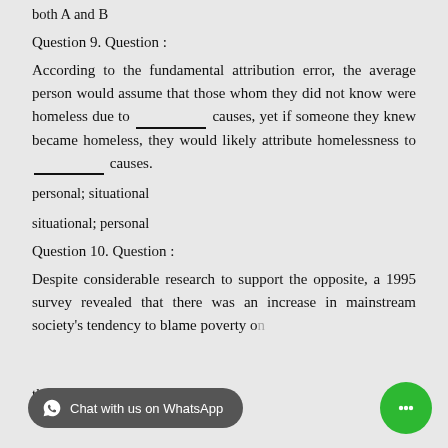both A and B
Question 9. Question :
According to the fundamental attribution error, the average person would assume that those whom they did not know were homeless due to __________ causes, yet if someone they knew became homeless, they would likely attribute homelessness to __________ causes.
personal; situational
situational; personal
Question 10. Question :
Despite considerable research to support the opposite, a 1995 survey revealed that there was an increase in mainstream society's tendency to blame poverty on the poor